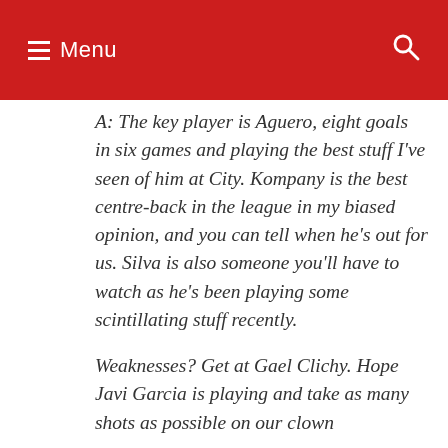Menu
A: The key player is Aguero, eight goals in six games and playing the best stuff I've seen of him at City. Kompany is the best centre-back in the league in my biased opinion, and you can tell when he's out for us. Silva is also someone you'll have to watch as he's been playing some scintillating stuff recently.
Weaknesses? Get at Gael Clichy. Hope Javi Garcia is playing and take as many shots as possible on our clown